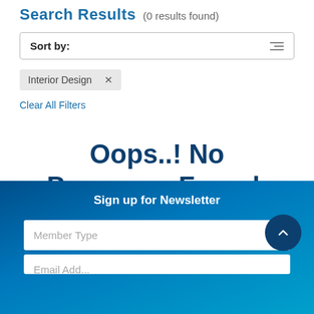Search Results (0 results found)
Sort by:
Interior Design ×
Clear All Filters
Oops..! No Programs Found.
Sign up for Newsletter
Member Type
Email Address